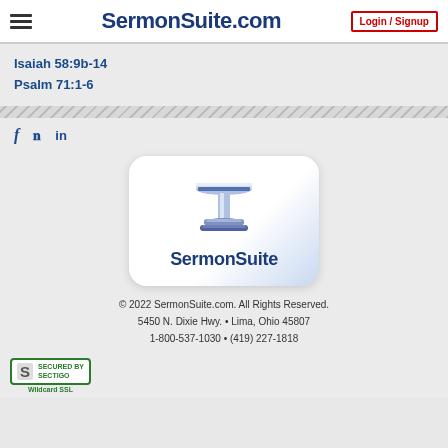SermonSuite.com  Login / Signup
Isaiah 58:9b-14
Psalm 71:1-6
[Figure (logo): SermonSuite logo with podium icon and text]
© 2022 SermonSuite.com. All Rights Reserved. 5450 N. Dixie Hwy. • Lima, Ohio 45807 1-800-537-1030 • (419) 227-1818